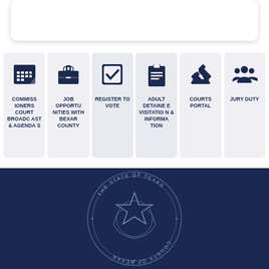[Figure (infographic): White rounded card at top of page]
[Figure (infographic): Navigation tiles row with 6 icons: Commissioners Court Broadcast & Agendas, Job Opportunities with Bexar County, Register to Vote, Adult Detainee Visitation & Information, Courts Portal, Jury Duty]
[Figure (infographic): Dark navy footer with State of Texas / Bexar County seal watermark]